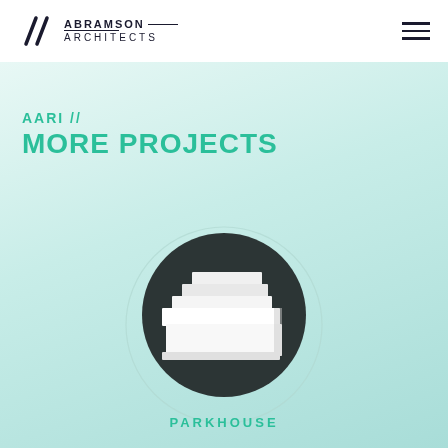ABRAMSON ARCHITECTS
AARI // MORE PROJECTS
[Figure (illustration): Circular dark badge containing an architectural model/rendering of a stepped white building (Parkhouse project). A light gray full circle outline sits behind the dark circle. The building model shows layered horizontal floor plates in white against a dark charcoal circle background.]
PARKHOUSE